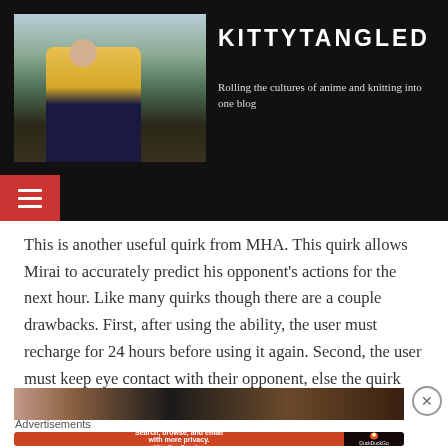[Figure (photo): Blog header showing a person wearing a yellow jacket outdoors with trees in the background]
KITTYTANGLED
Rolling the cultures of anime and knitting into one blog
[Figure (infographic): Navigation hamburger menu button on dark background]
This is another useful quirk from MHA. This quirk allows Mirai to accurately predict his opponent’s actions for the next hour. Like many quirks though there are a couple drawbacks. First, after using the ability, the user must recharge for 24 hours before using it again. Second, the user must keep eye contact with their opponent, else the quirk will be ineffective.
[Figure (photo): Partial image strip at the bottom of the article]
Advertisements
[Figure (infographic): DuckDuckGo advertisement banner: Search, browse, and email with more privacy. All in One Free App]